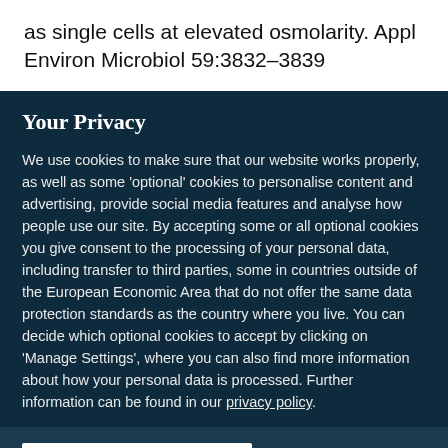as single cells at elevated osmolarity. Appl Environ Microbiol 59:3832–3839
Your Privacy
We use cookies to make sure that our website works properly, as well as some 'optional' cookies to personalise content and advertising, provide social media features and analyse how people use our site. By accepting some or all optional cookies you give consent to the processing of your personal data, including transfer to third parties, some in countries outside of the European Economic Area that do not offer the same data protection standards as the country where you live. You can decide which optional cookies to accept by clicking on 'Manage Settings', where you can also find more information about how your personal data is processed. Further information can be found in our privacy policy.
Accept all cookies
Manage preferences